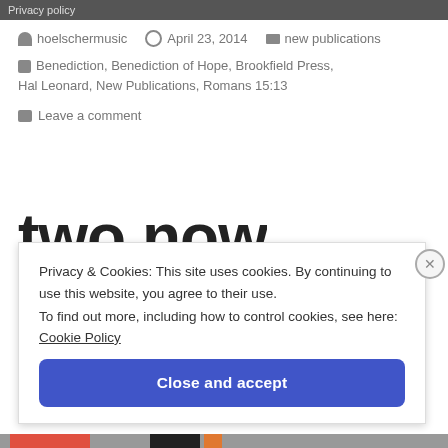Privacy policy
hoelschermusic   April 23, 2014   new publications
Benediction, Benediction of Hope, Brookfield Press, Hal Leonard, New Publications, Romans 15:13
Leave a comment
two now
Privacy & Cookies: This site uses cookies. By continuing to use this website, you agree to their use. To find out more, including how to control cookies, see here: Cookie Policy
Close and accept